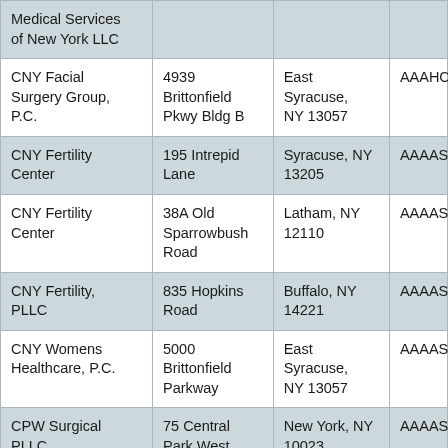| Medical Services of New York LLC |  |  |  |
| CNY Facial Surgery Group, P.C. | 4939 Brittonfield Pkwy Bldg B | East Syracuse, NY 13057 | AAAHC |
| CNY Fertility Center | 195 Intrepid Lane | Syracuse, NY 13205 | AAAASF |
| CNY Fertility Center | 38A Old Sparrowbush Road | Latham, NY 12110 | AAAASF |
| CNY Fertility, PLLC | 835 Hopkins Road | Buffalo, NY 14221 | AAAASF |
| CNY Womens Healthcare, P.C. | 5000 Brittonfield Parkway | East Syracuse, NY 13057 | AAAASF |
| CPW Surgical PLLC | 75 Central Park West | New York, NY 10023 | AAAASF |
| CSR Outpatient Medical Services LLC | 585 Broadway | Massapequa, NY 11758 | AAAASF |